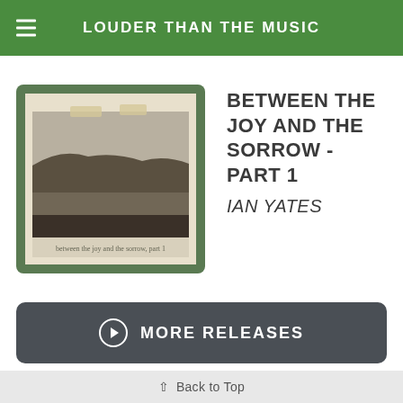LOUDER THAN THE MUSIC
[Figure (illustration): Album cover for 'Between the Joy and the Sorrow - Part 1' by Ian Yates, showing a vintage black-and-white photograph of a coastal landscape with a green border/frame styling]
BETWEEN THE JOY AND THE SORROW - PART 1
IAN YATES
MORE RELEASES
Back to Top